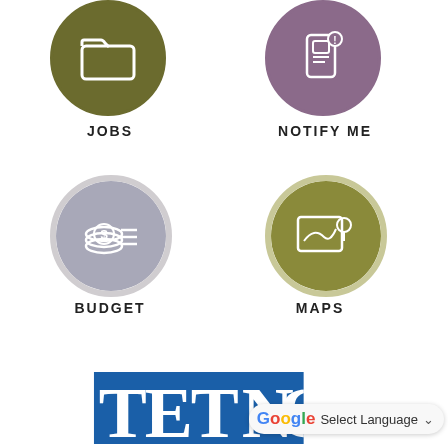[Figure (infographic): Circle icon for JOBS with olive/dark yellow-green background and folder icon in white]
JOBS
[Figure (infographic): Circle icon for NOTIFY ME with purple/mauve background and mobile notification icon in white]
NOTIFY ME
[Figure (infographic): Circle icon for BUDGET with gray background and dollar coin stack icon in white, with light gray ring border]
BUDGET
[Figure (infographic): Circle icon for MAPS with olive/khaki background and map with pin icon in white, with tan ring border]
MAPS
[Figure (logo): Teton logo in blue and white, partially visible at bottom]
Select Language